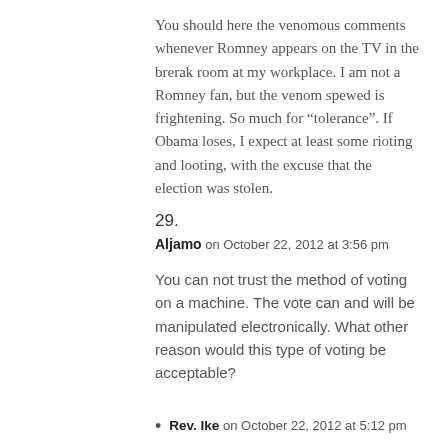You should here the venomous comments whenever Romney appears on the TV in the brerak room at my workplace. I am not a Romney fan, but the venom spewed is frightening. So much for “tolerance”. If Obama loses, I expect at least some rioting and looting, with the excuse that the election was stolen.
29.
Aljamo on October 22, 2012 at 3:56 pm
You can not trust the method of voting on a machine. The vote can and will be manipulated electronically. What other reason would this type of voting be acceptable?
Rev. Ike on October 22, 2012 at 5:12 pm